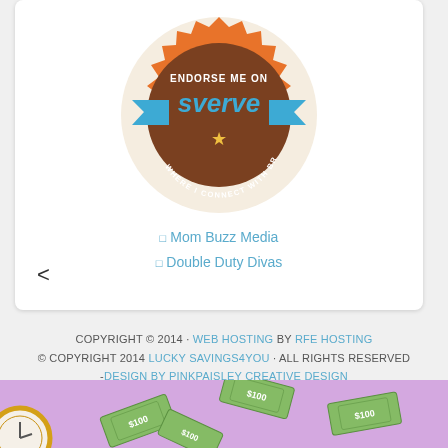[Figure (logo): Sverve badge: orange and brown circular seal with blue ribbon banners, text 'ENDORSE ME ON sverve WHERE I CONNECT WITH BRANDS', gold star in center]
Mom Buzz Media
Double Duty Divas
<
COPYRIGHT © 2014 · WEB HOSTING BY RFE HOSTING © COPYRIGHT 2014 LUCKY SAVINGS4YOU · ALL RIGHTS RESERVED -DESIGN BY PINKPAISLEY CREATIVE DESIGN
[Figure (illustration): Bottom banner showing purple/lavender background with scattered US dollar bills and a gold/yellow clock coin on the left]